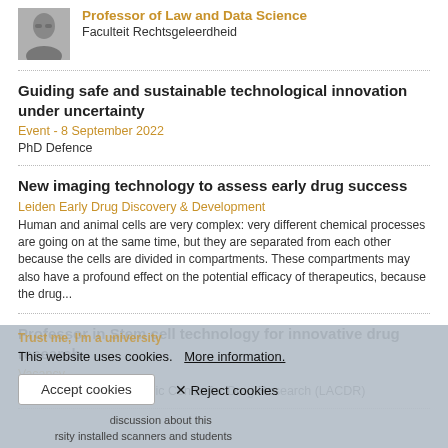[Figure (photo): Profile photo of a person wearing glasses, black and white or muted tone, small thumbnail]
Professor of Law and Data Science
Faculteit Rechtsgeleerdheid
Guiding safe and sustainable technological innovation under uncertainty
Event - 8 September 2022
PhD Defence
New imaging technology to assess early drug success
Leiden Early Drug Discovery & Development
Human and animal cells are very complex: very different chemical processes are going on at the same time, but they are separated from each other because the cells are divided in compartments. These compartments may also have a profound effect on the potential efficacy of therapeutics, because the drug...
Professor in Stem cell technology for innovative drug research
Vacancy
Science, Leiden Academic Centre for Drug Research (LACDR)
Trust me, I'm a university
This website uses cookies.  More information.
Accept cookies
✕ Reject cookies